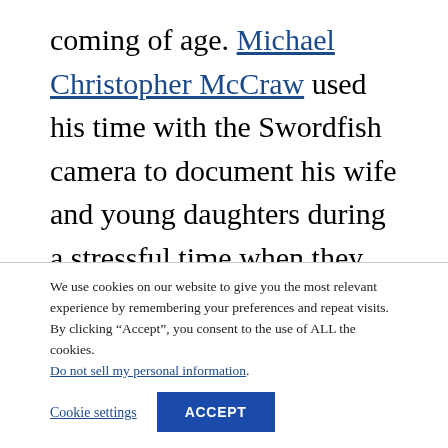coming of age. Michael Christopher McCraw used his time with the Swordfish camera to document his wife and young daughters during a stressful time when they were moving around and he was spending long periods of time away from them. Molly Matalon took the camera on a trip to Joshua
We use cookies on our website to give you the most relevant experience by remembering your preferences and repeat visits. By clicking “Accept”, you consent to the use of ALL the cookies. Do not sell my personal information.
Cookie settings
ACCEPT